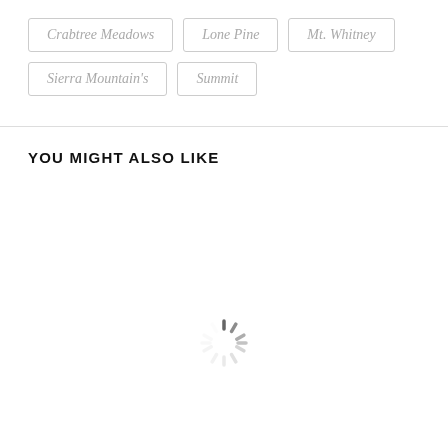Crabtree Meadows
Lone Pine
Mt. Whitney
Sierra Mountain's
Summit
YOU MIGHT ALSO LIKE
[Figure (other): Loading spinner animation indicator]